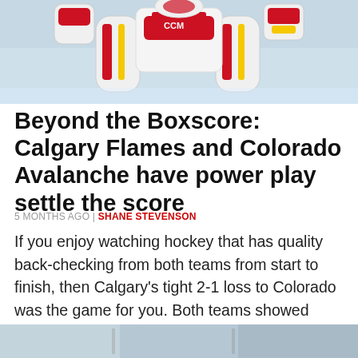[Figure (photo): Hockey goalie equipment photo — Calgary Flames goalie pads and gear on ice, red white and yellow colors, CCM branding visible]
Beyond the Boxscore: Calgary Flames and Colorado Avalanche have power play settle the score
5 MONTHS AGO | SHANE STEVENSON
If you enjoy watching hockey that has quality back-checking from both teams from start to finish, then Calgary's tight 2-1 loss to Colorado was the game for you. Both teams showed each other at 5v5 why they were leading their conferences with neither letting any holes in their coverage pop up. The only time either…
[Figure (photo): Bottom partial photo — appears to be another hockey-related image, partially visible at bottom of page]